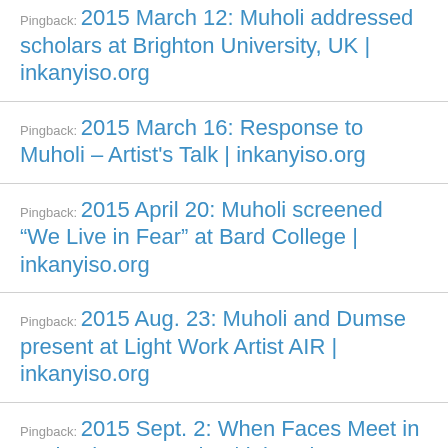Pingback: 2015 March 12: Muholi addressed scholars at Brighton University, UK | inkanyiso.org
Pingback: 2015 March 16: Response to Muholi – Artist's Talk | inkanyiso.org
Pingback: 2015 April 20: Muholi screened “We Live in Fear” at Bard College | inkanyiso.org
Pingback: 2015 Aug. 23: Muholi and Dumse present at Light Work Artist AIR | inkanyiso.org
Pingback: 2015 Sept. 2: When Faces Meet in Gothenburg, Sweden | inkanyiso.org